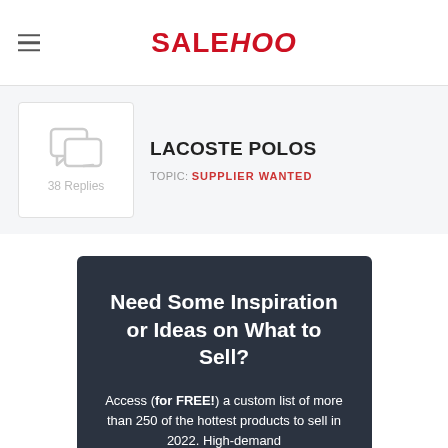SALEHOO
[Figure (screenshot): Forum topic card showing message/chat icon with '38 Replies' count, title 'LACOSTE POLOS', and topic label 'TOPIC: SUPPLIER WANTED' on a light gray background]
Need Some Inspiration or Ideas on What to Sell?
Access (for FREE!) a custom list of more than 250 of the hottest products to sell in 2022. High-demand